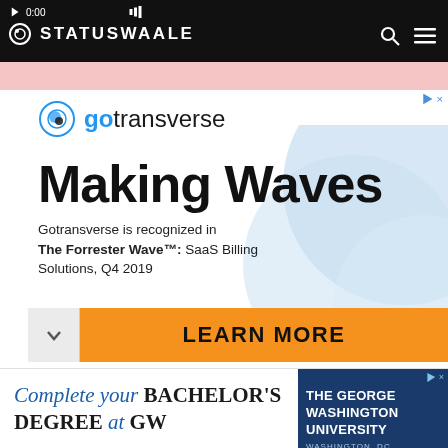STATUSWAALE
[Figure (screenshot): Gotransverse advertisement banner. Logo with circular icon and 'gotransverse' text in blue. Large headline 'Making Waves'. Body text: 'Gotransverse is recognized in The Forrester Wave™: SaaS Billing Solutions, Q4 2019'. Orange 'LEARN MORE' button at bottom. Blue wave circles in background.]
[Figure (screenshot): George Washington University banner ad. Text: 'Complete your BACHELOR'S DEGREE at GW'. GWU logo on right with navy background.]